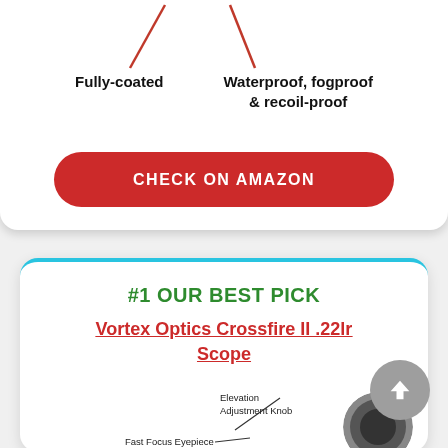[Figure (infographic): Two red diagonal arrow lines pointing down to labels 'Fully-coated' and 'Waterproof, fogproof & recoil-proof']
Fully-coated
Waterproof, fogproof & recoil-proof
CHECK ON AMAZON
#1 OUR BEST PICK
Vortex Optics Crossfire II .22lr Scope
[Figure (photo): Diagram of rifle scope with labels: Elevation Adjustment Knob, Fast Focus Eyepiece, and partial scope image]